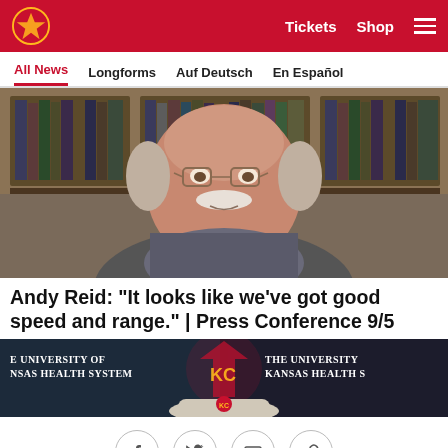Kansas City Chiefs navigation bar with logo, Tickets, Shop, and menu
All News | Longforms | Auf Deutsch | En Español
[Figure (photo): Video thumbnail of Andy Reid, a large man with a white mustache and glasses, sitting in front of a bookshelf with binders, speaking during a press conference video call.]
Andy Reid: "It looks like we've got good speed and range." | Press Conference 9/5
[Figure (photo): Press conference podium with Kansas City Chiefs KC logo and The University of Kansas Health System banner visible]
Social share icons: Facebook, Twitter, Email, Link